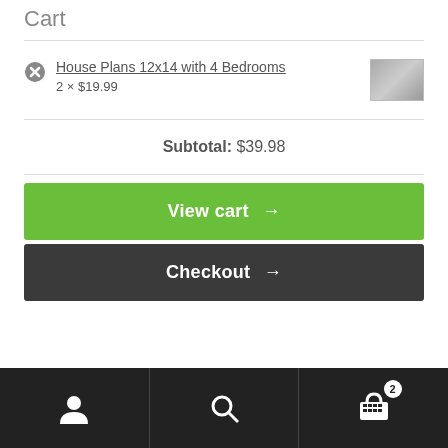Cart
House Plans 12x14 with 4 Bedrooms
2 × $19.99
Subtotal: $39.98
View cart →
Checkout →